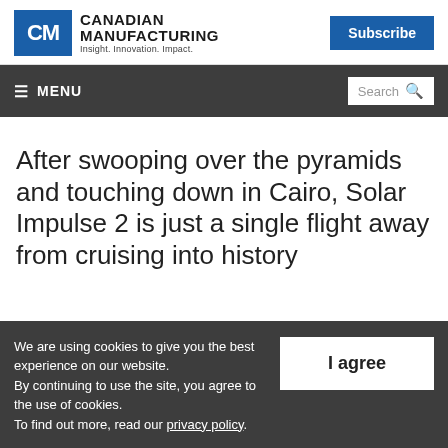Canadian Manufacturing — Insight. Innovation. Impact. | Subscribe
≡ MENU | Search
After swooping over the pyramids and touching down in Cairo, Solar Impulse 2 is just a single flight away from cruising into history
We are using cookies to give you the best experience on our website. By continuing to use the site, you agree to the use of cookies. To find out more, read our privacy policy.